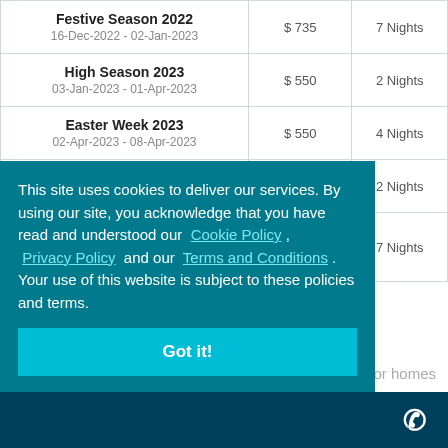| Season | Rate | Min Stay |
| --- | --- | --- |
| Festive Season 2022
16-Dec-2022 - 02-Jan-2023 | $ 735 | 7 Nights |
| High Season 2023
03-Jan-2023 - 01-Apr-2023 | $ 550 | 2 Nights |
| Easter Week 2023
02-Apr-2023 - 08-Apr-2023 | $ 550 | 4 Nights |
| Green Season 2023
09-Apr-2023 - 15-Dec-2023 | $ 385 | 2 Nights |
| Provisional Festive Season 2023 rates
16-Dec-2023 - 02-Jan-2024 | $ 735 | 7 Nights |
This site uses cookies to deliver our services. By using our site, you acknowledge that you have read and understood our Cookie Policy , Privacy Policy and our Terms and Conditions . Your use of this website is subject to these policies and terms.
for homes